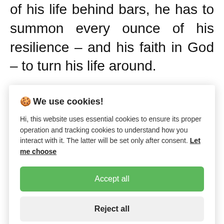of his life behind bars, he has to summon every ounce of his resilience – and his faith in God – to turn his life around.
Howard Marks, aka 'Mr. Nice', writes in his foreword: 'I first met Bruce in the early
🍪 We use cookies!
Hi, this website uses essential cookies to ensure its proper operation and tracking cookies to understand how you interact with it. The latter will be set only after consent. Let me choose
Accept all
Reject all
Link to Amazon page > Link to press